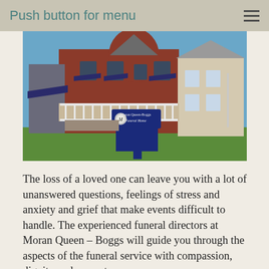Push button for menu
[Figure (photo): Exterior photograph of Moran Queen-Boggs Funeral Home — a large brick building with blue awnings, a white porch railing, and a prominent blue sign in front reading 'Moran Queen-Boggs Funeral Home' with a circular logo. Green lawn in the foreground, clear blue sky.]
The loss of a loved one can leave you with a lot of unanswered questions, feelings of stress and anxiety and grief that make events difficult to handle. The experienced funeral directors at Moran Queen – Boggs will guide you through the aspects of the funeral service with compassion, dignity and respect.